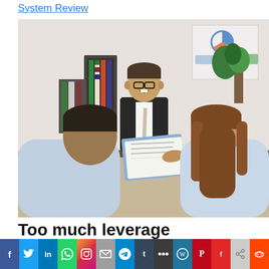System Review
[Figure (photo): Two people seen from behind sitting across a desk from a smiling man in a suit with glasses who is presenting documents in a folder. Office setting with binders and a plant in the background.]
Too much leverage
[Figure (infographic): Social media sharing bar with icons for Facebook, Twitter, LinkedIn, WhatsApp, Instagram, Email, Telegram, Tumblr, MySpace, WordPress, Pinterest, Flipboard, Share, Reddit]